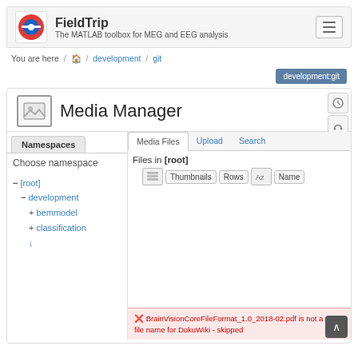FieldTrip — The MATLAB toolbox for MEG and EEG analysis
You are here / 🏠 / development / git
development:git
Media Manager
Namespaces
Choose namespace
− [root]
− development
+ bemmodel
+ classification
Files in [root]
Thumbnails  Rows  Name
❌ BrainVisionCoreFileFormat_1.0_2018-02.pdf is not a valid file name for DokuWiki - skipped